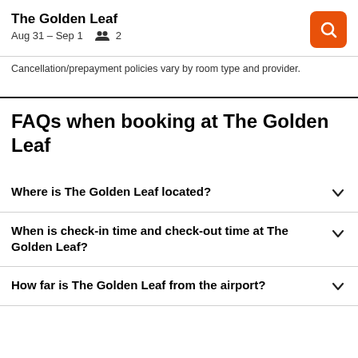The Golden Leaf
Aug 31 – Sep 1   2
Cancellation/prepayment policies vary by room type and provider.
FAQs when booking at The Golden Leaf
Where is The Golden Leaf located?
When is check-in time and check-out time at The Golden Leaf?
How far is The Golden Leaf from the airport?